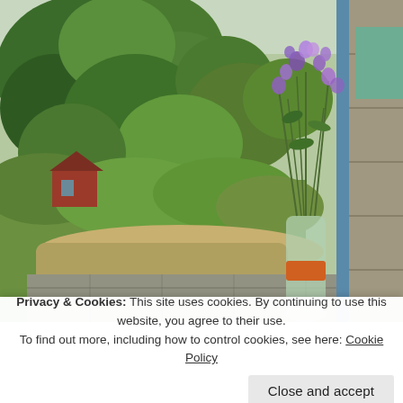[Figure (photo): Outdoor garden scene: lush green trees on the left with a red house visible in the background, stone retaining wall, and on the right a glass bottle vase with purple wildflowers against a stone wall with a blue-green shutter, and a blue pole.]
Privacy & Cookies: This site uses cookies. By continuing to use this website, you agree to their use.
To find out more, including how to control cookies, see here: Cookie Policy
Close and accept